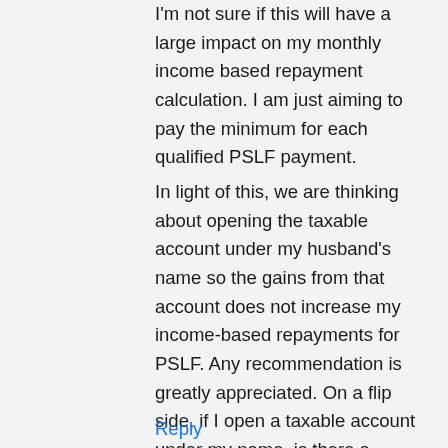I'm not sure if this will have a large impact on my monthly income based repayment calculation. I am just aiming to pay the minimum for each qualified PSLF payment.
In light of this, we are thinking about opening the taxable account under my husband's name so the gains from that account does not increase my income-based repayments for PSLF. Any recommendation is greatly appreciated. On a flip side, if I open a taxable account under my name, is there a certain amount in capital gains I have to watch out for before it affects my IBR repayment? Thank you
Reply